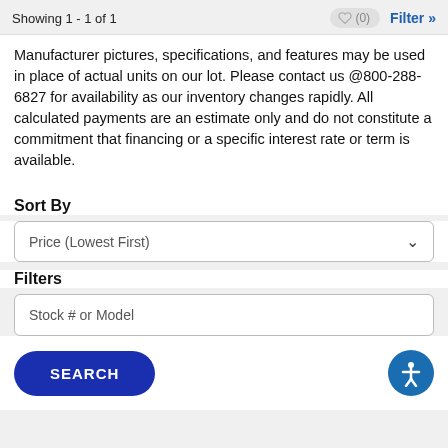Showing 1 - 1 of 1
Manufacturer pictures, specifications, and features may be used in place of actual units on our lot. Please contact us @800-288-6827 for availability as our inventory changes rapidly. All calculated payments are an estimate only and do not constitute a commitment that financing or a specific interest rate or term is available.
Sort By
Price (Lowest First)
Filters
Stock # or Model
SEARCH